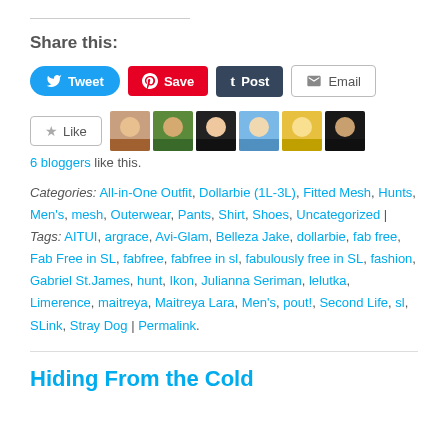Share this:
[Figure (screenshot): Social share buttons: Tweet (Twitter/blue), Save (Pinterest/red), Post (Tumblr/dark), Email (grey outlined)]
[Figure (screenshot): Like button with star icon and 6 blogger avatar thumbnails]
6 bloggers like this.
Categories: All-in-One Outfit, Dollarbie (1L-3L), Fitted Mesh, Hunts, Men's, mesh, Outerwear, Pants, Shirt, Shoes, Uncategorized | Tags: AITUI, argrace, Avi-Glam, Belleza Jake, dollarbie, fab free, Fab Free in SL, fabfree, fabfree in sl, fabulously free in SL, fashion, Gabriel St.James, hunt, Ikon, Julianna Seriman, lelutka, Limerence, maitreya, Maitreya Lara, Men's, pout!, Second Life, sl, SLink, Stray Dog | Permalink.
Hiding From the Cold